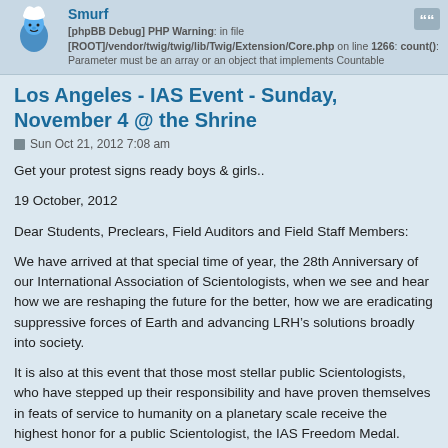Smurf
[phpBB Debug] PHP Warning: in file [ROOT]/vendor/twig/twig/lib/Twig/Extension/Core.php on line 1266: count(): Parameter must be an array or an object that implements Countable
Los Angeles - IAS Event - Sunday, November 4 @ the Shrine
Sun Oct 21, 2012 7:08 am
Get your protest signs ready boys & girls..
19 October, 2012
Dear Students, Preclears, Field Auditors and Field Staff Members:
We have arrived at that special time of year, the 28th Anniversary of our International Association of Scientologists, when we see and hear how we are reshaping the future for the better, how we are eradicating suppressive forces of Earth and advancing LRH’s solutions broadly into society.
It is also at this event that those most stellar public Scientologists, who have stepped up their responsibility and have proven themselves in feats of service to humanity on a planetary scale receive the highest honor for a public Scientologist, the IAS Freedom Medal.